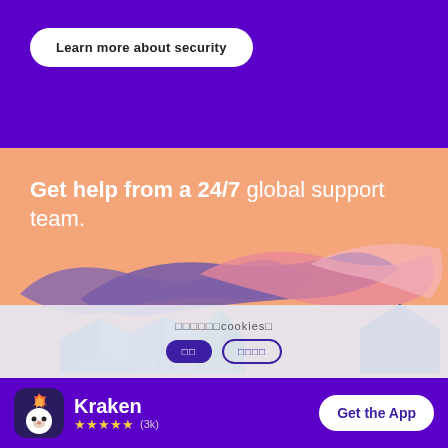Learn more about security
Get help from a 24/7 global support team.
[Figure (illustration): Decorative illustration with abstract blob shapes in purple and pink/salmon colors, with 3D geometric blue/teal book or box shapes at the bottom on an orange/peach background.]
我们在使用cookies之前
同意 / 管理设置
Kraken
★★★★★ (3k)
Get the App